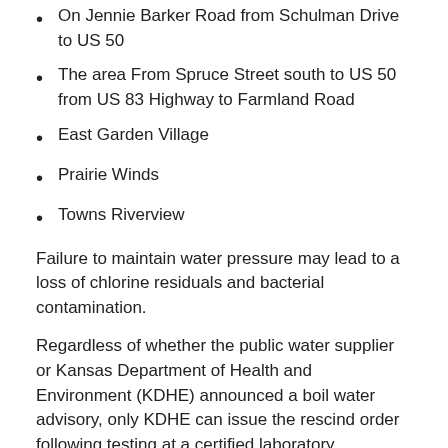On Jennie Barker Road from Schulman Drive to US 50
The area From Spruce Street south to US 50 from US 83 Highway to Farmland Road
East Garden Village
Prairie Winds
Towns Riverview
Failure to maintain water pressure may lead to a loss of chlorine residuals and bacterial contamination.
Regardless of whether the public water supplier or Kansas Department of Health and Environment (KDHE) announced a boil water advisory, only KDHE can issue the rescind order following testing at a certified laboratory.
For consumer questions, please contact the water system, or KDHE at 785-296-5514. For consumer information please visit KDHE’s PWS Consumer Information webpage: